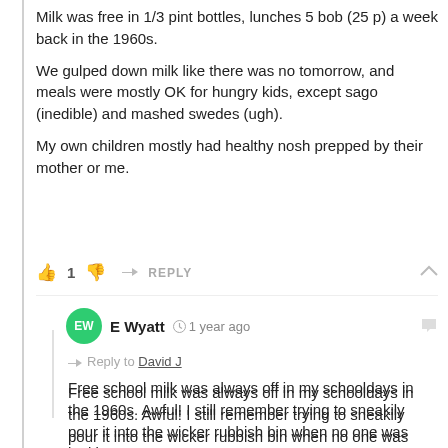Milk was free in 1/3 pint bottles, lunches 5 bob (25 p) a week back in the 1960s.
We gulped down milk like there was no tomorrow, and meals were mostly OK for hungry kids, except sago (inedible) and mashed swedes (ugh).
My own children mostly had healthy nosh prepped by their mother or me.
👍 1 👎 ➤ REPLY ∧
E Wyatt 🕐 1 year ago
💬 Reply to David J
Free school milk was always off in my schooldays in the 1960s. Awful! I still remember trying to sneakily pour it into the wicker rubbish bin when no one was looking.
👍 0 👎 ➤ REPLY
jerrywhitcroft 🕐 1 year ago